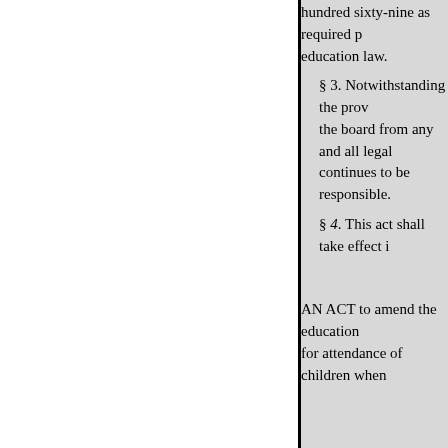hundred sixty-nine as required pursuant to the education law.
§ 3. Notwithstanding the provisions relieving the board from any and all legal responsibility, it continues to be responsible.
§ 4. This act shall take effect i
AN ACT to amend the education law, in relation to for attendance of children when
Became a law March 26, 1985
Passed by a majority vote, three-fifths being present. The People of the State of New York, represented in Senate and Assembly, do enact as follows:
Section 1. Subdivision one of section follows: